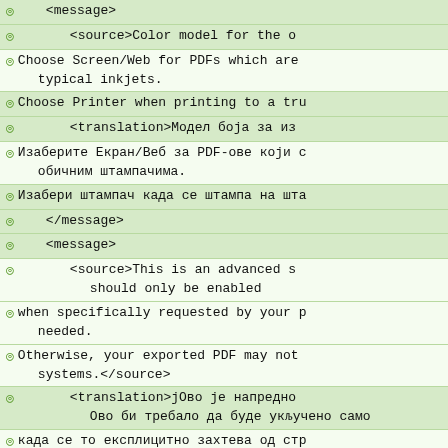<message>
<source>Color model for the o
Choose Screen/Web for PDFs which are typical inkjets.
Choose Printer when printing to a tru
<translation>Модел боја за из
Изаберите Екран/Веб за PDF-ове који с обичним штампачима.
Изабери штампач када се штампа на шта
</message>
<message>
<source>This is an advanced s should only be enabled
when specifically requested by your p needed.
Otherwise, your exported PDF may not systems.</source>
<translation>јОво је напредно Ово би требало да буде укључено само
када се то експлицитно захтева од стр су Вам потребни.
Иначе, Ваш извезени PDF може да има р различитих система.</translation>
</message>
<message>